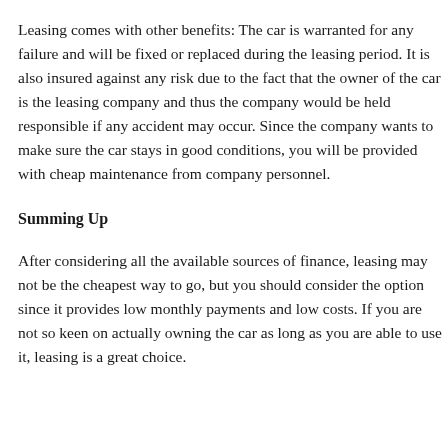Leasing comes with other benefits: The car is warranted for any failure and will be fixed or replaced during the leasing period. It is also insured against any risk due to the fact that the owner of the car is the leasing company and thus the company would be held responsible if any accident may occur. Since the company wants to make sure the car stays in good conditions, you will be provided with cheap maintenance from company personnel.
Summing Up
After considering all the available sources of finance, leasing may not be the cheapest way to go, but you should consider the option since it provides low monthly payments and low costs. If you are not so keen on actually owning the car as long as you are able to use it, leasing is a great choice.